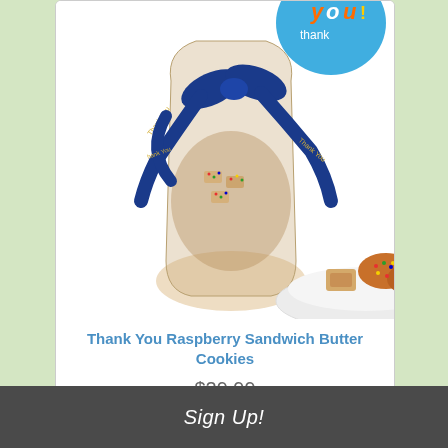[Figure (photo): Thank You Raspberry Sandwich Butter Cookies product photo — a bag tied with a blue 'Thank You' ribbon next to a plate with sprinkle-covered sandwich cookies, and a blue 'thank you' balloon visible top right]
Thank You Raspberry Sandwich Butter Cookies
$29.99
Not Rated
[Figure (photo): Partially visible product photo showing a cellophane bag of cookies with a 'Happy' themed label/balloon, product cut off at bottom]
Sign Up!